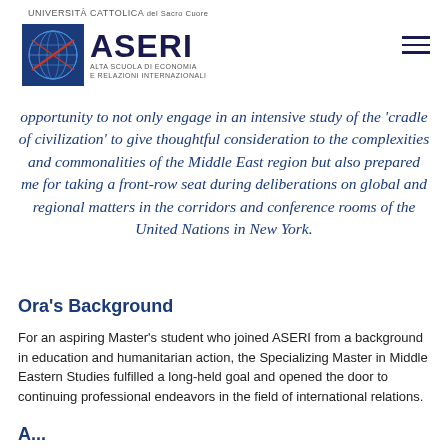UNIVERSITÀ CATTOLICA del Sacro Cuore — ASERI Alta Scuola di Economia e Relazioni Internazionali
opportunity to not only engage in an intensive study of the 'cradle of civilization' to give thoughtful consideration to the complexities and commonalities of the Middle East region but also prepared me for taking a front-row seat during deliberations on global and regional matters in the corridors and conference rooms of the United Nations in New York.
Ora's Background
For an aspiring Master's student who joined ASERI from a background in education and humanitarian action, the Specializing Master in Middle Eastern Studies fulfilled a long-held goal and opened the door to continuing professional endeavors in the field of international relations.
A...